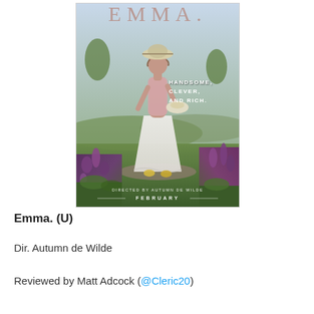[Figure (photo): Movie poster for Emma. (2020) directed by Autumn de Wilde. Shows a young woman in Regency-era white dress and bonnet holding a hat, standing in an English countryside landscape. Text reads: EMMA. HANDSOME, CLEVER, AND RICH. DIRECTED BY AUTUMN DE WILDE. FEBRUARY.]
Emma. (U)
Dir. Autumn de Wilde
Reviewed by Matt Adcock (@Cleric20)